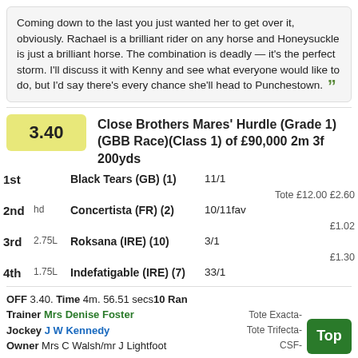Coming down to the last you just wanted her to get over it, obviously. Rachael is a brilliant rider on any horse and Honeysuckle is just a brilliant horse. The combination is deadly — it's the perfect storm. I'll discuss it with Kenny and see what everyone would like to do, but I'd say there's every chance she'll head to Punchestown. ”
3.40 Close Brothers Mares' Hurdle (Grade 1)(GBB Race)(Class 1) of £90,000 2m 3f 200yds
| Pos | Margin | Horse | Odds | Tote |
| --- | --- | --- | --- | --- |
| 1st |  | Black Tears (GB) (1) | 11/1 | Tote £12.00 £2.60 |
| 2nd | hd | Concertista (FR) (2) | 10/11fav | £1.02 |
| 3rd | 2.75L | Roksana (IRE) (10) | 3/1 | £1.30 |
| 4th | 1.75L | Indefatigable (IRE) (7) | 33/1 |  |
OFF 3.40. Time 4m. 56.51 secs 10 Ran
Trainer Mrs Denise Foster
Jockey J W Kennedy
Owner Mrs C Walsh/mr J Lightfoot
Tote Exacta-
Tote Trifecta-
CSF-